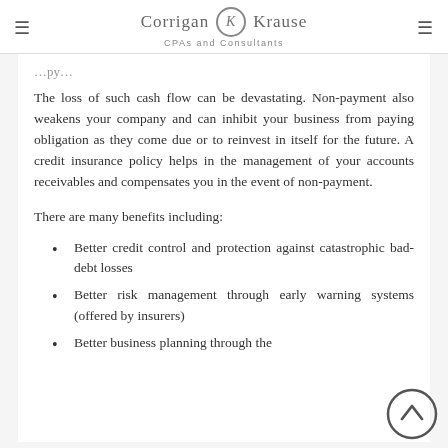Corrigan Krause — CPAs and Consultants
The loss of such cash flow can be devastating. Non-payment also weakens your company and can inhibit your business from paying obligation as they come due or to reinvest in itself for the future. A credit insurance policy helps in the management of your accounts receivables and compensates you in the event of non-payment.
There are many benefits including:
Better credit control and protection against catastrophic bad-debt losses
Better risk management through early warning systems (offered by insurers)
Better business planning through the